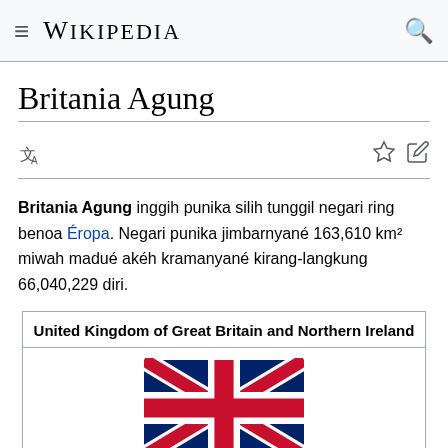Wikipedia
Britania Agung
Britania Agung inggih punika silih tunggil negari ring benoa Éropa. Negari punika jimbarnyané 163,610 km² miwah madué akéh kramanyané kirang-langkung 66,040,229 diri.
| United Kingdom of Great Britain and Northern Ireland |
| --- |
| [Flag image] |
| Kober |
Kober